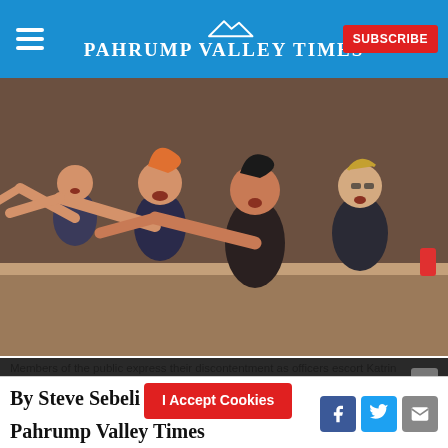Pahrump Valley Times
[Figure (photo): Members of the public pointing and shouting, appearing to express discontentment at a public meeting]
Members of the public express their discontentment as officers escort Katrin Ivanoff from the Clark County Commission meeting for public outbursts as
By continuing to browse or by clicking “I Accept Cookies” you agree to the storing of first-party and third-party cookies on your device and consent to the disclosure of your personal information to our third party service providers or advertising partners to optimize your experience, analyze traffic and personalize content.
By Steve Sebelius, copyright the Pahrump Valley Times